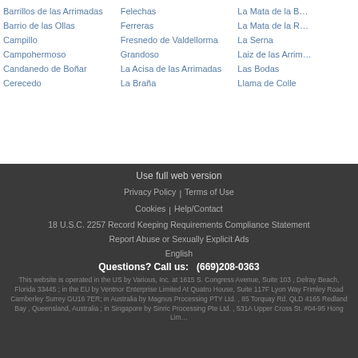Barrillos de las Arrimadas
Barrio de las Ollas
Campillo
Campohermoso
Candanedo de Boñar
Cerecedo
Felechas
Ferreras
Fresnedo de Valdellorma
Grandoso
La Acisa de las Arrimadas
La Braña
La Mata de la B…
La Mata de la R…
La Serna
Laiz de las Arrim…
Las Bodas
Llama de Colle
Use full web version
Privacy Policy | Terms of Use
Cookies | Help/Contact
18 U.S.C. 2257 Record Keeping Requirements Compliance Statement
Report Abuse or Sexually Explicit Ads
English
Questions? Call us: (669)208-0363
This website is operated in the US by Various, Inc. at 1615 S. Congress Avenue, Suite 103 , Delray Beach, Florida 33445 ; in the EU by Ventnor Enterprise Limited At Quatro House, Suite 117F Lyon Way Frimley Road Camberley Surrey GU16 7ER; in Australia by Magnus Processing PTY Ltd. , 85 Torquay Rd. QLD 4165 Redland Bay , Queensland, Australia ; in Singapore by Sinric Processing Pte Ltd. , 531A Upper Cross St. #04-95 Hong Lim…